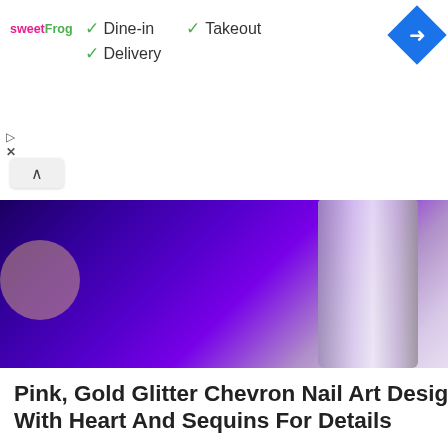[Figure (screenshot): Advertisement banner for sweetFrog with checkmarks: Dine-in, Takeout, Delivery, and a blue navigation diamond icon]
[Figure (photo): Close-up of a blue/purple nail polish bottle against skin background]
Pink, Gold Glitter Chevron Nail Art Design With Heart And Sequins For Details
[Figure (photo): Close-up of a hand with pink glitter chevron nail art design with hearts and sequins; watermark reads 'lesisbette']